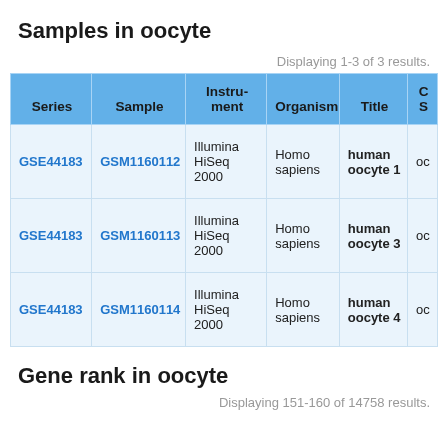Samples in oocyte
Displaying 1-3 of 3 results.
| Series | Sample | Instrument | Organism | Title | C S |
| --- | --- | --- | --- | --- | --- |
| GSE44183 | GSM1160112 | Illumina HiSeq 2000 | Homo sapiens | human oocyte 1 | oc |
| GSE44183 | GSM1160113 | Illumina HiSeq 2000 | Homo sapiens | human oocyte 3 | oc |
| GSE44183 | GSM1160114 | Illumina HiSeq 2000 | Homo sapiens | human oocyte 4 | oc |
Gene rank in oocyte
Displaying 151-160 of 14758 results.